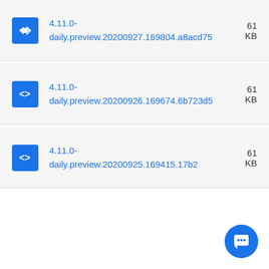4.11.0-daily.preview.20200927.169804.a8acd75  61 KB
4.11.0-daily.preview.20200926.169674.6b723d5  61 KB
4.11.0-daily.preview.20200925.169415.17b2  61 KB